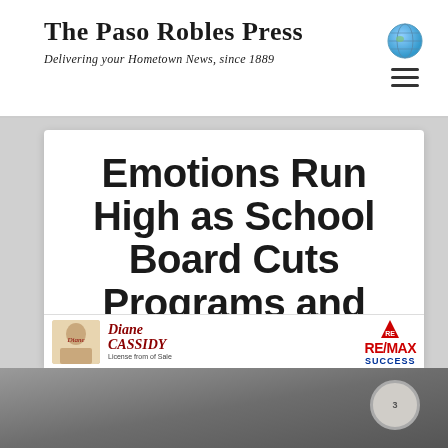The Paso Robles Press — Delivering your Hometown News, since 1889
Emotions Run High as School Board Cuts Programs and Employees
By Paso Robles Press | Mar 11, 2020
[Figure (photo): Advertisement banner for Diane Cassidy RE/MAX Success real estate agent]
[Figure (photo): Bottom portion of photo related to school board article, partially obscured by advertisement overlay]